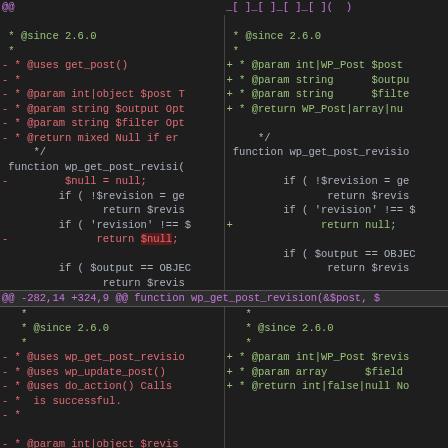[Figure (screenshot): A git diff view showing two columns of code changes. Left column shows removed lines (red, prefixed with -) and right column shows added lines (green, prefixed with +). Code is from WordPress PHP functions wp_get_post_revision. Two diff hunks are shown separated by a purple @@ header line.]